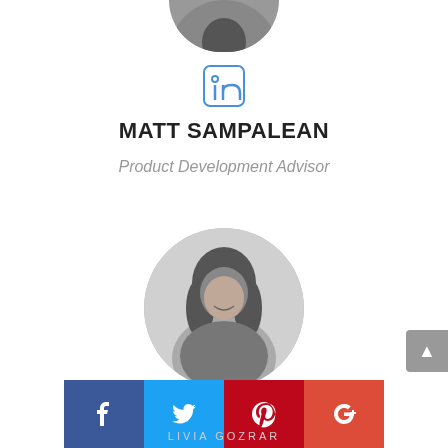[Figure (photo): Cropped circular profile photo of Matt Sampalean, only bottom portion visible at top of page]
[Figure (logo): LinkedIn 'in' icon in blue outline style]
MATT SAMPALEAN
Product Development Advisor
[Figure (photo): Circular black and white profile photo of a woman with long dark hair, smiling, wearing a jacket]
[Figure (logo): LinkedIn 'in' icon in blue outline style, partially visible]
[Figure (infographic): Social sharing bar with Facebook, Twitter, Pinterest and Google+ buttons]
Livia Gozrar